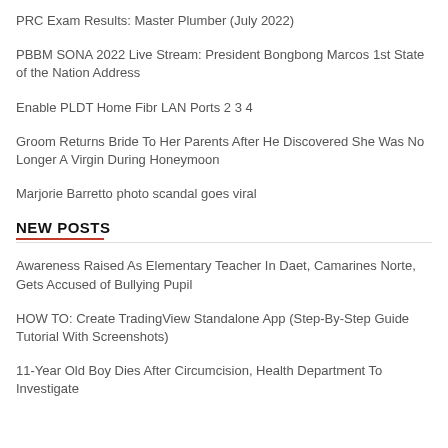PRC Exam Results: Master Plumber (July 2022)
PBBM SONA 2022 Live Stream: President Bongbong Marcos 1st State of the Nation Address
Enable PLDT Home Fibr LAN Ports 2 3 4
Groom Returns Bride To Her Parents After He Discovered She Was No Longer A Virgin During Honeymoon
Marjorie Barretto photo scandal goes viral
NEW POSTS
Awareness Raised As Elementary Teacher In Daet, Camarines Norte, Gets Accused of Bullying Pupil
HOW TO: Create TradingView Standalone App (Step-By-Step Guide Tutorial With Screenshots)
11-Year Old Boy Dies After Circumcision, Health Department To Investigate